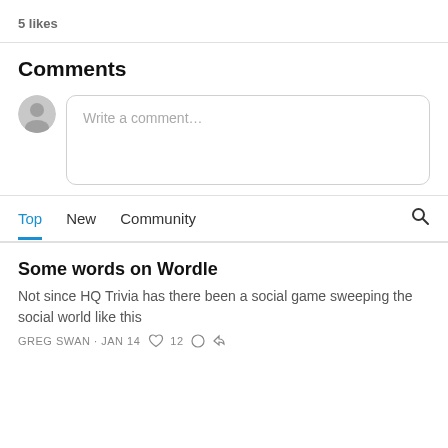5 likes
Comments
Write a comment...
Top   New   Community
Some words on Wordle
Not since HQ Trivia has there been a social game sweeping the social world like this
GREG SWAN · JAN 14 · ♡ 12